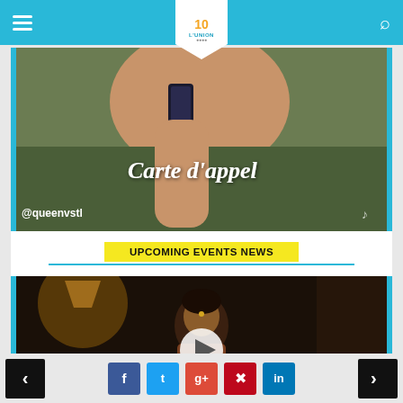L'Union - Navigation header with hamburger menu, logo, and search icon
[Figure (screenshot): Video screenshot of a person in a green t-shirt holding a phone to their ear. Text overlay in script font reads 'Carte d'appel'. Bottom left shows '@queenvstl' watermark. TikTok-style video frame.]
UPCOMING EVENTS NEWS
[Figure (screenshot): Video screenshot of a dark-lit scene with a woman in ornate clothing. Text overlay reads 'Featuring'. A white circular play button is overlaid in the center.]
Navigation arrows (prev/next) and social sharing buttons: Facebook, Twitter, Google+, Pinterest, LinkedIn